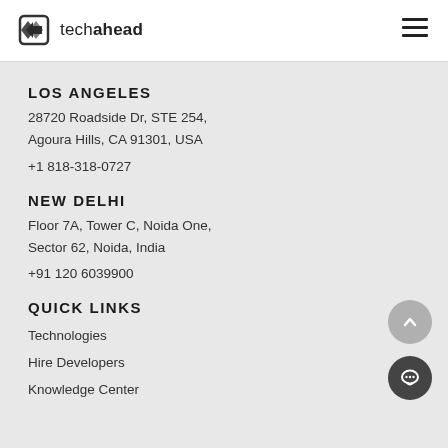[Figure (logo): TechAhead logo with diamond/arrow icon and text 'techahead']
LOS ANGELES
28720 Roadside Dr, STE 254,
Agoura Hills, CA 91301, USA
+1 818-318-0727
NEW DELHI
Floor 7A, Tower C, Noida One,
Sector 62, Noida, India
+91 120 6039900
QUICK LINKS
Technologies
Hire Developers
Knowledge Center